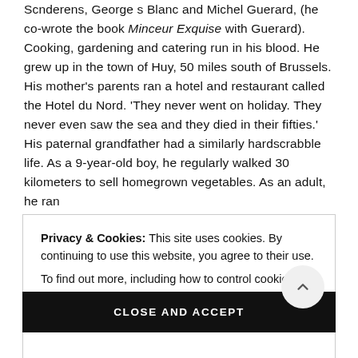Scnderens, George s Blanc and Michel Guerard, (he co-wrote the book Minceur Exquise with Guerard). Cooking, gardening and catering run in his blood. He grew up in the town of Huy, 50 miles south of Brussels. His mother's parents ran a hotel and restaurant called the Hotel du Nord. 'They never went on holiday. They never even saw the sea and they died in their fifties.' His paternal grandfather had a similarly hardscrabble life. As a 9-year-old boy, he regularly walked 30 kilometers to sell homegrown vegetables. As an adult, he ran
Privacy & Cookies: This site uses cookies. By continuing to use this website, you agree to their use. To find out more, including how to control cookies, see here: Cookie Policy
CLOSE AND ACCEPT